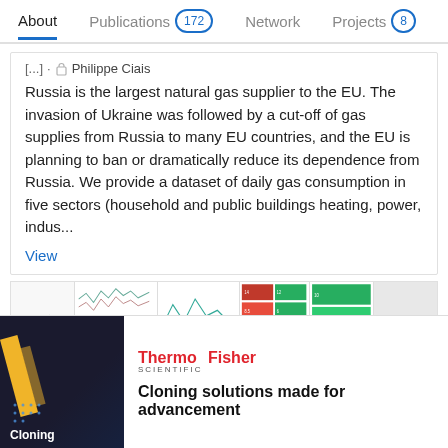About | Publications 172 | Network | Projects 8
[...] · Philippe Ciais
Russia is the largest natural gas supplier to the EU. The invasion of Ukraine was followed by a cut-off of gas supplies from Russia to many EU countries, and the EU is planning to ban or dramatically reduce its dependence from Russia. We provide a dataset of daily gas consumption in five sectors (household and public buildings heating, power, indus...
View
[Figure (screenshot): Strip of scientific figures including line charts, multi-panel plots, heatmaps in red/green with an Advertisement label overlay.]
Advertisement
[Figure (logo): ThermoFisher Scientific logo in red and grey text]
Cloning solutions made for advancement